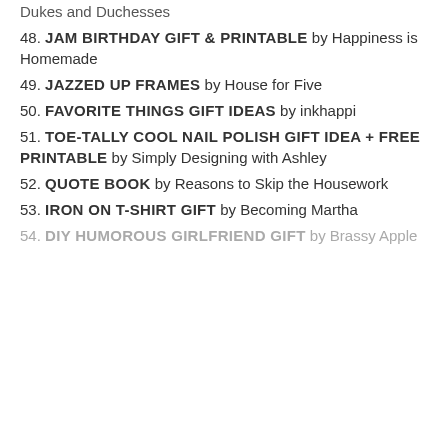Dukes and Duchesses (partial, clipped at top)
48. JAM BIRTHDAY GIFT & PRINTABLE by Happiness is Homemade
49. JAZZED UP FRAMES by House for Five
50. FAVORITE THINGS GIFT IDEAS by inkhappi
51. TOE-TALLY COOL NAIL POLISH GIFT IDEA + FREE PRINTABLE by Simply Designing with Ashley
52. QUOTE BOOK by Reasons to Skip the Housework
53. IRON ON T-SHIRT GIFT by Becoming Martha
54. DIY HUMOROUS GIRLFRIEND GIFT by Brassy Apple (partial, clipped at bottom)